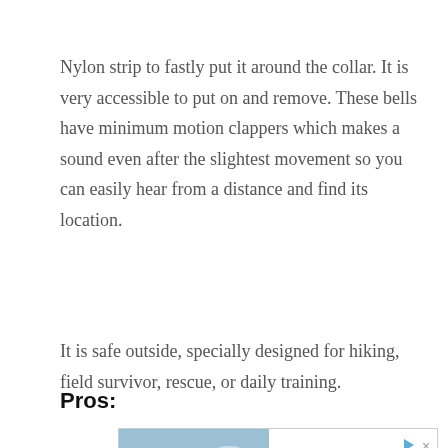Nylon strip to fastly put it around the collar. It is very accessible to put on and remove. These bells have minimum motion clappers which makes a sound even after the slightest movement so you can easily hear from a distance and find its location.
It is safe outside, specially designed for hiking, field survivor, rescue, or daily training.
Pros:
[Figure (other): Advertisement banner for Vrbo vacation rentals. Shows a mountain lodge house image on the left with the Vrbo logo, and on the right text reading 'Vacation homes for whoever you call family' with a 'Find yours' button. Contains play and close icons in the top right corner.]